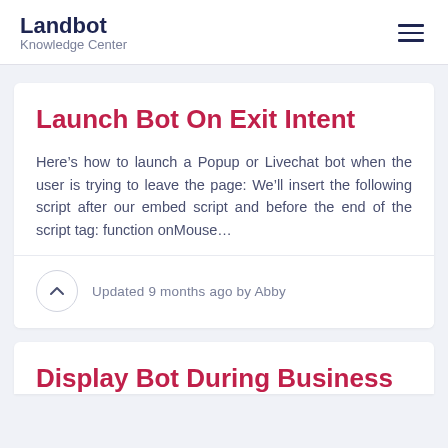Landbot Knowledge Center
Launch Bot On Exit Intent
Here’s how to launch a Popup or Livechat bot when the user is trying to leave the page: We’ll insert the following script after our embed script and before the end of the script tag: function onMouse…
Updated 9 months ago by Abby
Display Bot During Business